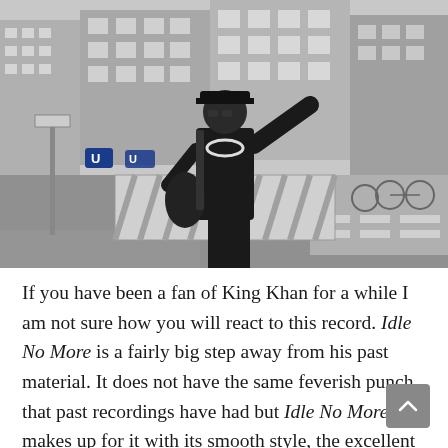[Figure (photo): Black and white photograph of a man dressed in a police-style cap, leather jacket, and beaded necklace, holding a guitar on a wet urban street with construction barriers. Buildings and parked bicycles are visible in the background.]
If you have been a fan of King Khan for a while I am not sure how you will react to this record. Idle No More is a fairly big step away from his past material. It does not have the same feverish punch that past recordings have had but Idle No More makes up for it with its smooth style, the excellent playing from The Shrines and the bigger